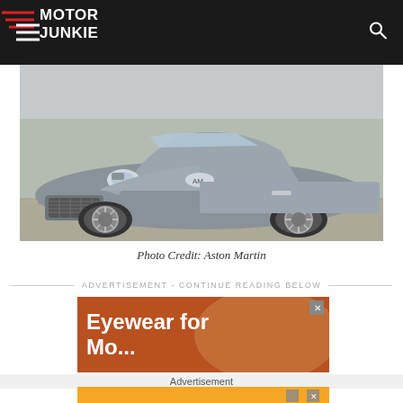Motor Junkie
[Figure (photo): Front view of a silver Aston Martin sports car parked on gravel, photographed from a low angle showing the front grille, headlights, and large alloy wheels]
Photo Credit: Aston Martin
ADVERTISEMENT - CONTINUE READING BELOW
[Figure (photo): Advertisement banner: Eyewear for... (orange/brown background with a person wearing eyewear)]
Advertisement
[Figure (photo): Advertisement banner: A PARTY in EVERY PACK - Hefty (orange/yellow background)]